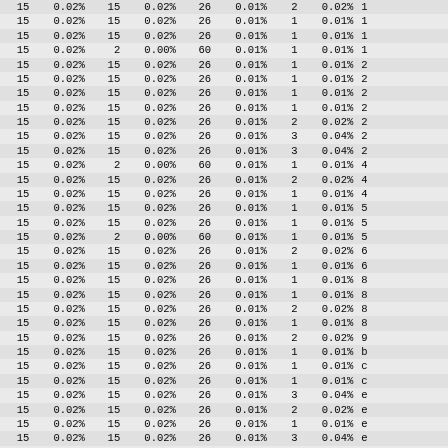| 15 | 0.02% | 15 | 0.02% | 26 | 0.01% | 2 | 0.02% | 1... |
| 15 | 0.02% | 15 | 0.02% | 26 | 0.01% | 1 | 0.01% | 1... |
| 15 | 0.02% | 15 | 0.02% | 26 | 0.01% | 1 | 0.01% | 1... |
| 15 | 0.02% | 2 | 0.00% | 60 | 0.01% | 1 | 0.01% | 1... |
| 15 | 0.02% | 15 | 0.02% | 26 | 0.01% | 1 | 0.01% | 2... |
| 15 | 0.02% | 15 | 0.02% | 26 | 0.01% | 1 | 0.01% | 2... |
| 15 | 0.02% | 15 | 0.02% | 26 | 0.01% | 1 | 0.01% | 2... |
| 15 | 0.02% | 15 | 0.02% | 26 | 0.01% | 1 | 0.01% | 2... |
| 15 | 0.02% | 15 | 0.02% | 26 | 0.01% | 2 | 0.02% | 2... |
| 15 | 0.02% | 15 | 0.02% | 26 | 0.01% | 3 | 0.04% | 2... |
| 15 | 0.02% | 15 | 0.02% | 26 | 0.01% | 3 | 0.04% | 2... |
| 15 | 0.02% | 2 | 0.00% | 60 | 0.01% | 1 | 0.01% | 4... |
| 15 | 0.02% | 15 | 0.02% | 26 | 0.01% | 2 | 0.02% | 4... |
| 15 | 0.02% | 15 | 0.02% | 26 | 0.01% | 1 | 0.01% | 4... |
| 15 | 0.02% | 15 | 0.02% | 26 | 0.01% | 1 | 0.01% | 5... |
| 15 | 0.02% | 15 | 0.02% | 26 | 0.01% | 1 | 0.01% | 5... |
| 15 | 0.02% | 2 | 0.00% | 60 | 0.01% | 1 | 0.01% | 5... |
| 15 | 0.02% | 15 | 0.02% | 26 | 0.01% | 2 | 0.02% | 6... |
| 15 | 0.02% | 15 | 0.02% | 26 | 0.01% | 1 | 0.01% | 6... |
| 15 | 0.02% | 15 | 0.02% | 26 | 0.01% | 1 | 0.01% | 8... |
| 15 | 0.02% | 15 | 0.02% | 26 | 0.01% | 1 | 0.01% | 8... |
| 15 | 0.02% | 15 | 0.02% | 26 | 0.01% | 2 | 0.02% | 8... |
| 15 | 0.02% | 15 | 0.02% | 26 | 0.01% | 1 | 0.01% | 8... |
| 15 | 0.02% | 15 | 0.02% | 26 | 0.01% | 2 | 0.02% | 9... |
| 15 | 0.02% | 15 | 0.02% | 26 | 0.01% | 1 | 0.01% | b... |
| 15 | 0.02% | 15 | 0.02% | 26 | 0.01% | 1 | 0.01% | c... |
| 15 | 0.02% | 15 | 0.02% | 26 | 0.01% | 1 | 0.01% | c... |
| 15 | 0.02% | 15 | 0.02% | 26 | 0.01% | 3 | 0.04% | e... |
| 15 | 0.02% | 15 | 0.02% | 26 | 0.01% | 2 | 0.02% | e... |
| 15 | 0.02% | 15 | 0.02% | 26 | 0.01% | 1 | 0.01% | e... |
| 15 | 0.02% | 15 | 0.02% | 26 | 0.01% | 3 | 0.04% | e... |
| 15 | 0.02% | 15 | 0.02% | 26 | 0.01% | 2 | 0.02% | e... |
| 15 | 0.02% | 15 | 0.02% | 26 | 0.01% | 1 | 0.01% | e... |
| 15 | 0.02% | 15 | 0.02% | 26 | 0.01% | 1 | 0.01% | e... |
| 15 | 0.02% | 15 | 0.02% | 26 | 0.01% | 2 | 0.02% | e... |
| 15 | 0.02% | 15 | 0.02% | 26 | 0.01% | 1 | 0.01% | e... |
| 15 | 0.02% | 15 | 0.02% | 26 | 0.01% | 2 | 0.02% | e... |
| 15 | 0.02% | 15 | 0.02% | 26 | 0.01% | 1 | 0.01% | e... |
| 15 | 0.02% | 15 | 0.02% | 26 | 0.01% | 1 | 0.01% | g... |
| 15 | 0.02% | 15 | 0.02% | 26 | 0.01% | 2 | 0.02% | h... |
| 15 | 0.02% | 2 | 0.00% | 60 | 0.01% | 1 | 0.01% |  |